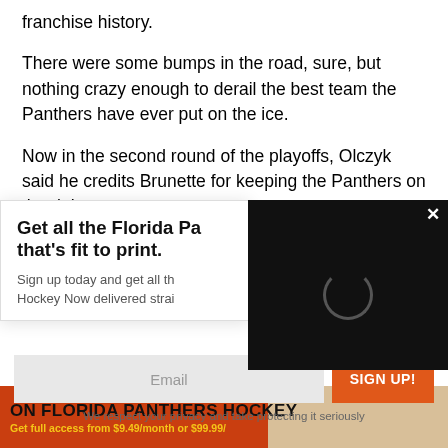franchise history.
There were some bumps in the road, sure, but nothing crazy enough to derail the best team the Panthers have ever put on the ice.
Now in the second round of the playoffs, Olczyk said he credits Brunette for keeping the Panthers on the right
[Figure (screenshot): Black video player box with a loading spinner circle and an X close button in the top right corner]
Get all the Florida Pa that's fit to print.
Sign up today and get all th Hockey Now delivered strai
Email
SIGN UP!
We respect your privacy and take protecting it seriously
ON FLORIDA PANTHERS HOCKEY
Get full access from $9.49/month or $99.99/